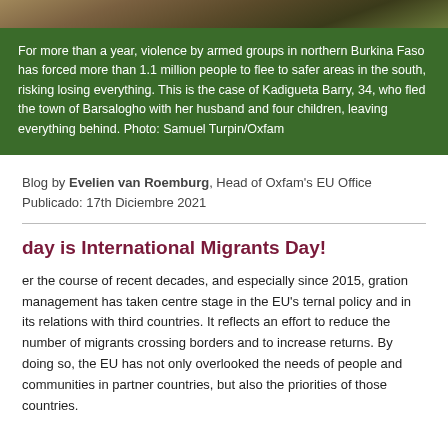[Figure (photo): Partial photo strip at top of page showing outdoor scene]
For more than a year, violence by armed groups in northern Burkina Faso has forced more than 1.1 million people to flee to safer areas in the south, risking losing everything. This is the case of Kadigueta Barry, 34, who fled the town of Barsalogho with her husband and four children, leaving everything behind. Photo: Samuel Turpin/Oxfam
Blog by Evelien van Roemburg, Head of Oxfam's EU Office
Publicado: 17th Diciembre 2021
day is International Migrants Day!
er the course of recent decades, and especially since 2015, gration management has taken centre stage in the EU's ternal policy and in its relations with third countries. It reflects an effort to reduce the number of migrants crossing borders and to increase returns. By doing so, the EU has not only overlooked the needs of people and communities in partner countries, but also the priorities of those countries.